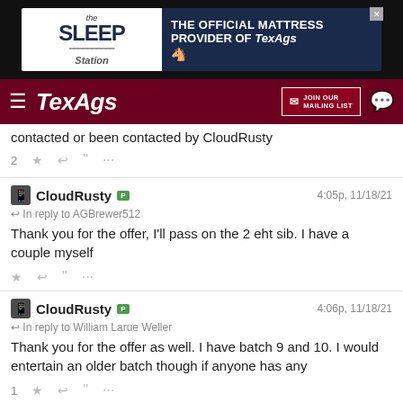[Figure (screenshot): Sleep Station advertisement banner: THE OFFICIAL MATTRESS PROVIDER OF TexAgs]
[Figure (screenshot): TexAgs navigation bar with hamburger menu, TexAgs logo, JOIN OUR MAILING LIST button, and chat icon]
contacted or been contacted by CloudRusty
CloudRusty  P  4:05p, 11/18/21
In reply to AGBrewer512
Thank you for the offer, I'll pass on the 2 eht sib. I have a couple myself
CloudRusty  P  4:06p, 11/18/21
In reply to William Larue Weller
Thank you for the offer as well. I have batch 9 and 10. I would entertain an older batch though if anyone has any
CloudRusty  P  4:09p, 11/18/21
In reply to MarathonAg12
Glad you got your trade done marathon. And for what it's worth, I